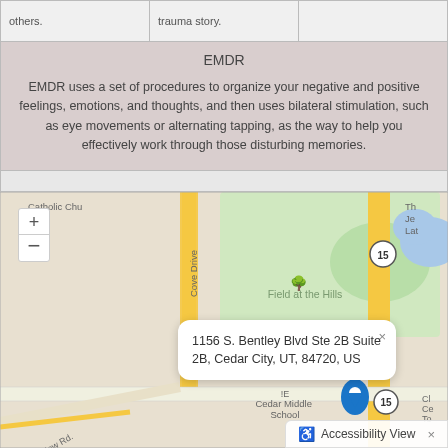| others. | trauma story. |  |
| --- | --- | --- |
| EMDR |  |  |
| EMDR uses a set of procedures to organize your negative and positive feelings, emotions, and thoughts, and then uses bilateral stimulation, such as eye movements or alternating tapping, as the way to help you effectively work through those disturbing memories. |  |  |
[Figure (map): Street map showing location at 1156 S. Bentley Blvd Ste 2B Suite 2B, Cedar City, UT, 84720, US. Map shows Field at the Hills, Cedar Middle School, Cove Drive, Route 15, and surrounding streets. A blue location pin marks the address with a popup callout.]